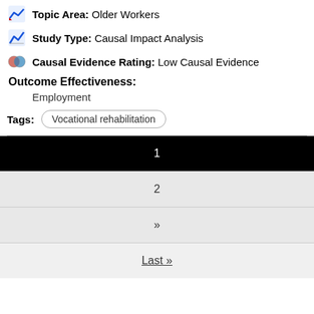Topic Area: Older Workers
Study Type: Causal Impact Analysis
Causal Evidence Rating: Low Causal Evidence
Outcome Effectiveness:
Employment
Tags: Vocational rehabilitation
1
2
»
Last »